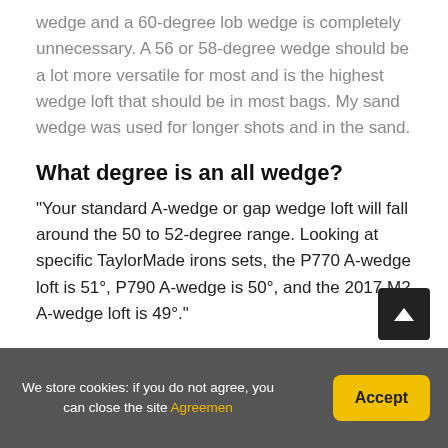wedge and a 60-degree lob wedge is completely unnecessary. A 56 or 58-degree wedge should be a lot more versatile for most and is the highest wedge loft that should be in most bags. My sand wedge was used for longer shots and in the sand.
What degree is an all wedge?
“Your standard A-wedge or gap wedge loft will fall around the 50 to 52-degree range. Looking at specific TaylorMade irons sets, the P770 A-wedge loft is 51°, P790 A-wedge is 50°, and the 2017 M2 A-wedge loft is 49°.”
What 3 wedges should I carry?
Know your pitching wedge loft. If it's 45 degrees or less, add three more wedges that are spaced apart by no more than 4-5 degrees each. So generally think about put…
We store cookies: if you do not agree, you can close the site Agreement